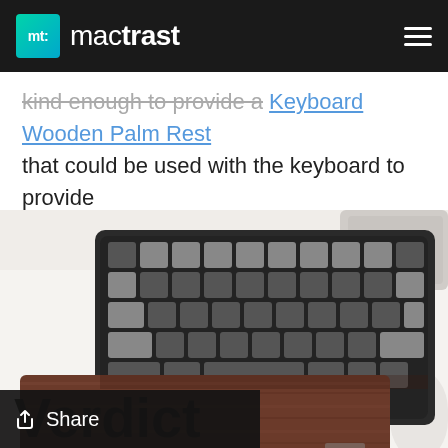mt: mactrast
kind enough to provide a Keyboard Wooden Palm Rest that could be used with the keyboard to provide ergonomic support.
[Figure (photo): Overhead view of a mechanical keyboard with dark keycaps sitting on a white desk surface, with a wooden palm rest below it. The wood palm rest has a rich dark walnut finish. Partially visible is what appears to be a laptop and mouse pad at the edges.]
Verdict
Share